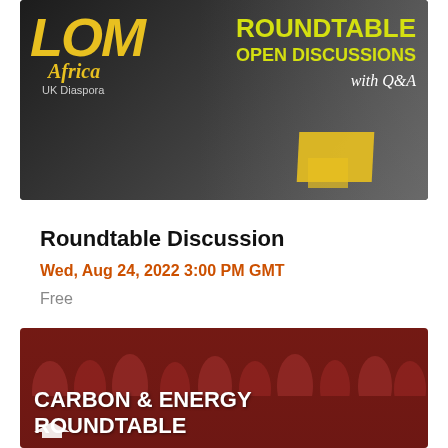[Figure (illustration): Banner image for LOM Africa UK Diaspora Roundtable Open Discussions with Q&A event. Dark background with yellow LOM Africa logo on left and yellow text ROUNDTABLE OPEN DISCUSSIONS with Q&A on the right, with yellow geometric shapes.]
Roundtable Discussion
Wed, Aug 24, 2022 3:00 PM GMT
Free
[Figure (illustration): Banner image for Carbon & Energy Roundtable event. Dark red/brown background with crowd of people in a meeting room. White bold text reads CARBON & ENERGY ROUNDTABLE with a small logo/icon at bottom.]